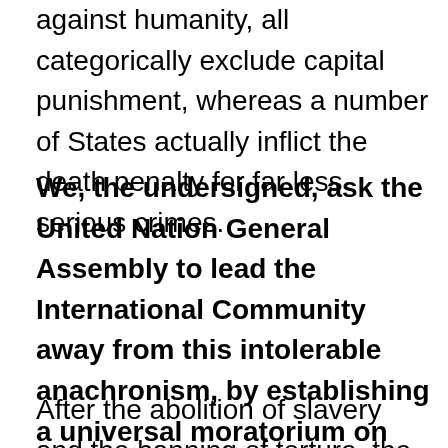against humanity, all categorically exclude capital punishment, whereas a number of States actually inflict the death penalty for far less serious crimes.
We, the undersigned, ask the United Nation General Assembly to lead the International Community away from this intolerable anachronism, by establishing a universal moratorium on executions with a view to total abolition.
After the abolition of slavery and the banning of torture, the right not to be killed following a